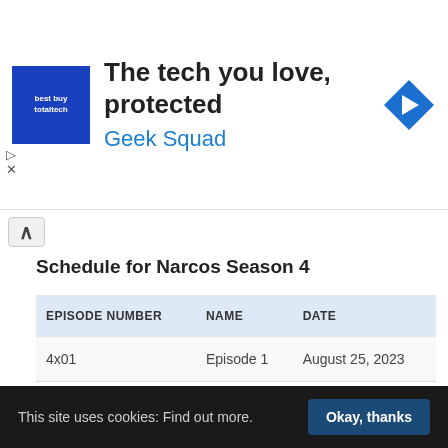[Figure (illustration): Advertisement banner for Best Buy Geek Squad Total Tech protection plan with blue logo and navigation arrow icon]
Schedule for Narcos Season 4
| EPISODE NUMBER | NAME | DATE |
| --- | --- | --- |
| 4x01 | Episode 1 | August 25, 2023 |
| 4x02 | Episode 2 | August 25, 2023 |
| 4x03 | Episode 3 | August 25, 2023 |
| 4x04 | Episode 4 | August 25, 2023 |
| 4x05 | Episode 5 | August 25, 2023 |
This site uses cookies: Find out more.